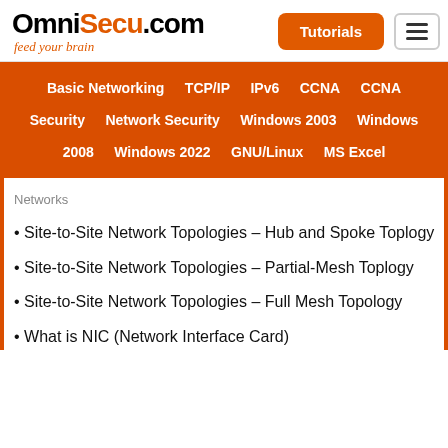OmniSecu.com feed your brain
Site-to-Site Network Topologies - Hub and Spoke Toplogy
Site-to-Site Network Topologies - Partial-Mesh Toplogy
Site-to-Site Network Topologies - Full Mesh Topology
What is NIC (Network Interface Card)